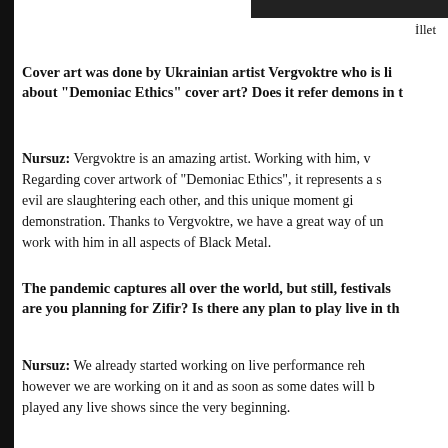İllet
Cover art was done by Ukrainian artist Vergvoktre who is li... about “Demoniac Ethics” cover art? Does it refer demons in t...
Nursuz: Vergvoktre is an amazing artist. Working with him, v... Regarding cover artwork of “Demoniac Ethics”, it represents a s... evil are slaughtering each other, and this unique moment gi... demonstration. Thanks to Vergvoktre, we have a great way of un... work with him in all aspects of Black Metal.
The pandemic captures all over the world, but still, festivals... are you planning for Zifir? Is there any plan to play live in th...
Nursuz: We already started working on live performance reh... however we are working on it and as soon as some dates will b... played any live shows since the very beginning.